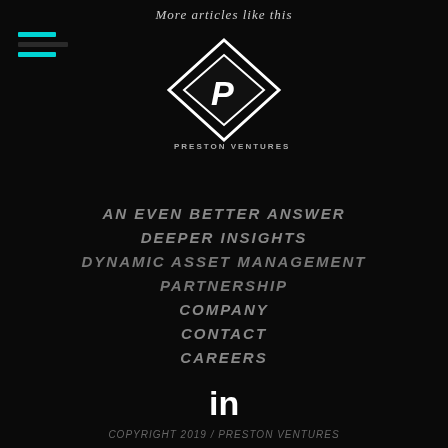More articles like this
[Figure (logo): Preston Ventures diamond-shaped logo with stylized P letter and company name PRESTON VENTURES below]
AN EVEN BETTER ANSWER
DEEPER INSIGHTS
DYNAMIC ASSET MANAGEMENT
PARTNERSHIP
COMPANY
CONTACT
CAREERS
[Figure (logo): LinkedIn social media icon in white]
COPYRIGHT 2019 / PRESTON VENTURES